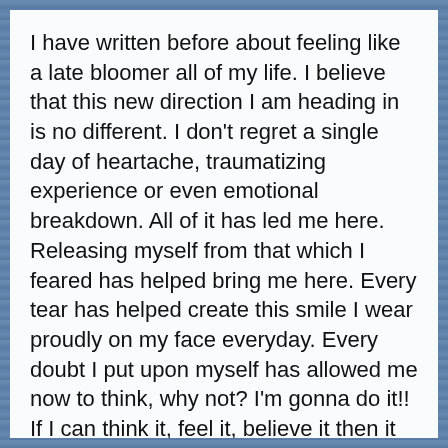I have written before about feeling like a late bloomer all of my life. I believe that this new direction I am heading in is no different. I don't regret a single day of heartache, traumatizing experience or even emotional breakdown. All of it has led me here. Releasing myself from that which I feared has helped bring me here. Every tear has helped create this smile I wear proudly on my face everyday. Every doubt I put upon myself has allowed me now to think, why not? I'm gonna do it!! If I can think it, feel it, believe it then it will be!
Patiently awaiting for my intentions to manifest is where I find myself today. Moving through life at my own desired pace. If it doesn't feel right, I don't do it. I am through with betraying myself to please anyone else. Change occurs when the pain of existing in the same patterns becomes too great to